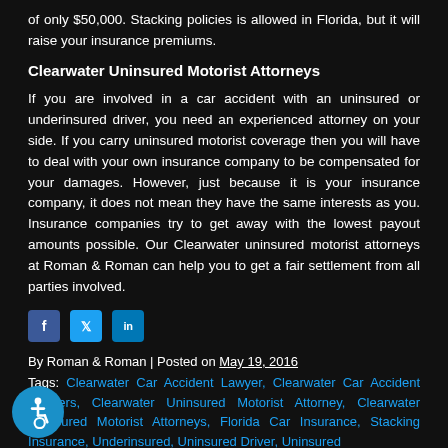of only $50,000. Stacking policies is allowed in Florida, but it will raise your insurance premiums.
Clearwater Uninsured Motorist Attorneys
If you are involved in a car accident with an uninsured or underinsured driver, you need an experienced attorney on your side. If you carry uninsured motorist coverage then you will have to deal with your own insurance company to be compensated for your damages. However, just because it is your insurance company, it does not mean they have the same interests as you. Insurance companies try to get away with the lowest payout amounts possible. Our Clearwater uninsured motorist attorneys at Roman & Roman can help you to get a fair settlement from all parties involved.
By Roman & Roman | Posted on May 19, 2016
Tags: Clearwater Car Accident Lawyer, Clearwater Car Accident Lawyers, Clearwater Uninsured Motorist Attorney, Clearwater Uninsured Motorist Attorneys, Florida Car Insurance, Stacking Insurance, Underinsured, Uninsured Driver, Uninsured...